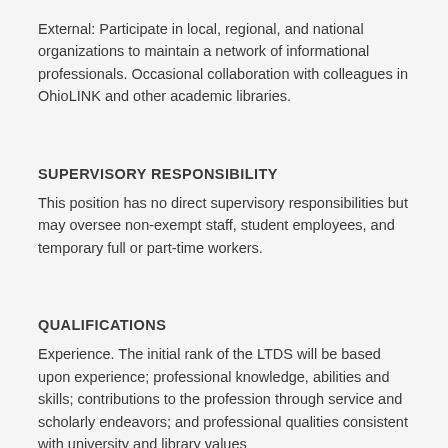External: Participate in local, regional, and national organizations to maintain a network of informational professionals. Occasional collaboration with colleagues in OhioLINK and other academic libraries.
SUPERVISORY RESPONSIBILITY
This position has no direct supervisory responsibilities but may oversee non-exempt staff, student employees, and temporary full or part-time workers.
QUALIFICATIONS
Experience. The initial rank of the LTDS will be based upon experience; professional knowledge, abilities and skills; contributions to the profession through service and scholarly endeavors; and professional qualities consistent with university and library values
Education/Licensing. Master's degree in a relevant discipline